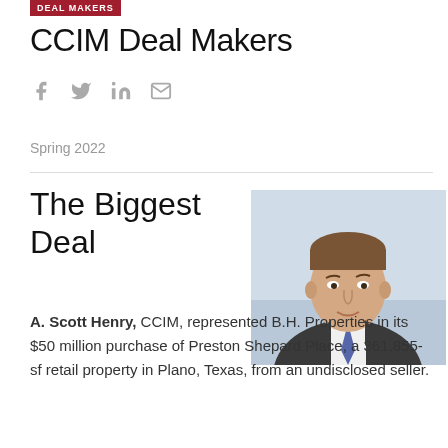DEAL MAKERS
CCIM Deal Makers
Social share icons: Facebook, Twitter, LinkedIn, Email
Spring 2022
The Biggest Deal
[Figure (photo): Professional headshot of A. Scott Henry, a man in a dark suit with a blue tie, light background]
A. Scott Henry, CCIM, represented B.H. Properties in its $50 million purchase of Preston Shepard Place, a 361,855-sf retail property in Plano, Texas, from an undisclosed seller.